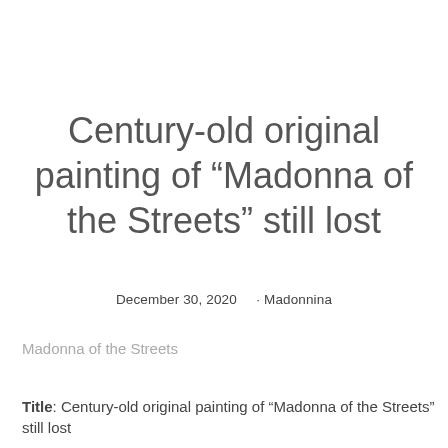Century-old original painting of “Madonna of the Streets” still lost
December 30, 2020   · Madonnina
Madonna of the Streets
Title: Century-old original painting of “Madonna of the Streets” still lost